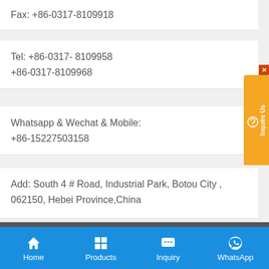Fax: +86-0317-8109918
Tel: +86-0317- 8109958
+86-0317-8109968
Whatsapp & Wechat & Mobile:
+86-15227503158
Add: South 4 # Road, Industrial Park, Botou City , 062150, Hebei Province,China
[Figure (logo): SFP company logo with gear and wave design in red and blue]
Home  Products  Inquiry  WhatsApp